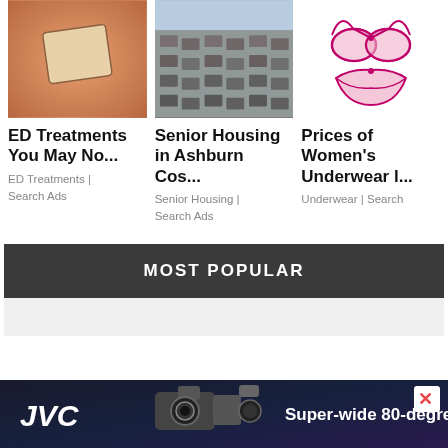[Figure (photo): Skin patch on arm (medical/ED treatment ad image)]
[Figure (photo): Aerial view of suburban housing development]
[Figure (photo): Pink lingerie bra and underwear set on white background]
ED Treatments You May No...
ED Treatments | Search Ads
Senior Housing in Ashburn Cos...
Senior Housing | Search Ads
Prices of Women's Underwear l...
Underwear | Search
MOST POPULAR
[Figure (photo): JVC camera advertisement banner: Super-wide 80-degree FoV]